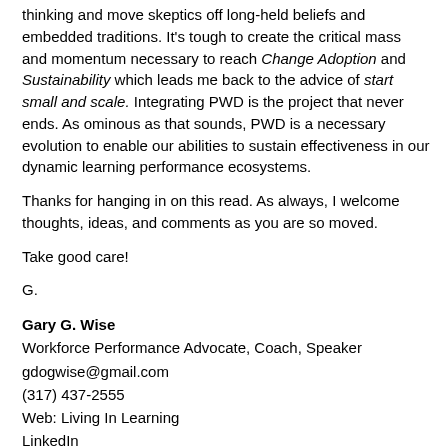thinking and move skeptics off long-held beliefs and embedded traditions. It's tough to create the critical mass and momentum necessary to reach Change Adoption and Sustainability which leads me back to the advice of start small and scale. Integrating PWD is the project that never ends. As ominous as that sounds, PWD is a necessary evolution to enable our abilities to sustain effectiveness in our dynamic learning performance ecosystems.
Thanks for hanging in on this read. As always, I welcome thoughts, ideas, and comments as you are so moved.
Take good care!
G.
Gary G. Wise
Workforce Performance Advocate, Coach, Speaker
gdogwise@gmail.com
(317) 437-2555
Web: Living In Learning
LinkedIn